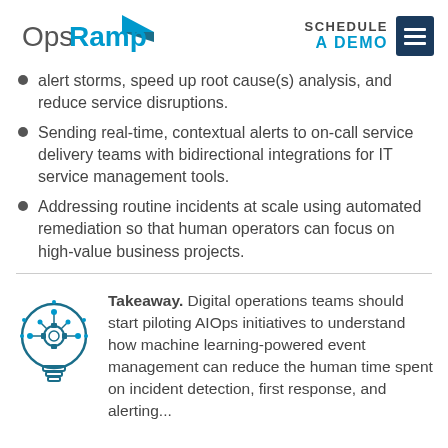OpsRamp | SCHEDULE A DEMO
alert storms, speed up root cause(s) analysis, and reduce service disruptions.
Sending real-time, contextual alerts to on-call service delivery teams with bidirectional integrations for IT service management tools.
Addressing routine incidents at scale using automated remediation so that human operators can focus on high-value business projects.
Takeaway. Digital operations teams should start piloting AIOps initiatives to understand how machine learning-powered event management can reduce the human time spent on incident detection, first response, and alerting...